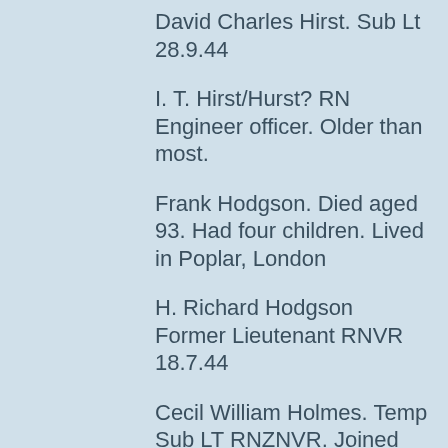David Charles Hirst. Sub Lt 28.9.44
I. T. Hirst/Hurst? RN Engineer officer. Older than most.
Frank Hodgson. Died aged 93. Had four children. Lived in Poplar, London
H. Richard Hodgson Former Lieutenant RNVR 18.7.44
Cecil William Holmes. Temp Sub LT RNZNVR. Joined 26.1.43. Became film producer and communist.
F B (Chick) Horwood Former